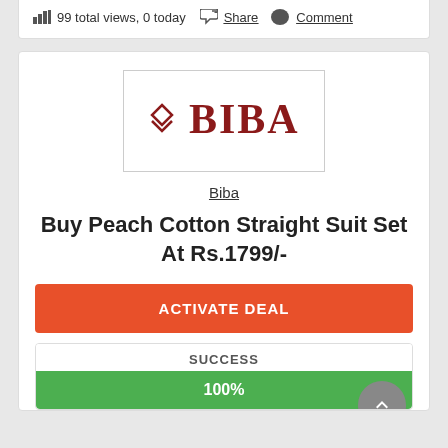99 total views, 0 today   Share   Comment
[Figure (logo): BIBA brand logo with diamond chevron icon in dark red and BIBA text in serif font]
Biba
Buy Peach Cotton Straight Suit Set At Rs.1799/-
ACTIVATE DEAL
SUCCESS
100%